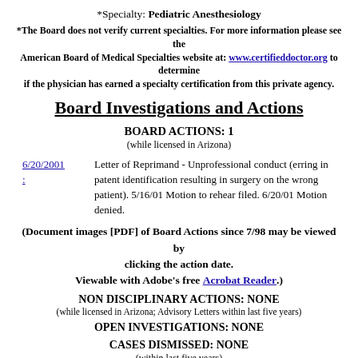*Specialty: Pediatric Anesthesiology
*The Board does not verify current specialties. For more information please see the American Board of Medical Specialties website at: www.certifieddoctor.org to determine if the physician has earned a specialty certification from this private agency.
Board Investigations and Actions
BOARD ACTIONS: 1
(while licensed in Arizona)
6/20/2001: Letter of Reprimand - Unprofessional conduct (erring in patent identification resulting in surgery on the wrong patient). 5/16/01 Motion to rehear filed. 6/20/01 Motion denied.
(Document images [PDF] of Board Actions since 7/98 may be viewed by clicking the action date. Viewable with Adobe's free Acrobat Reader.)
NON DISCIPLINARY ACTIONS: NONE
(while licensed in Arizona; Advisory Letters within last five years)
OPEN INVESTIGATIONS: NONE
CASES DISMISSED: NONE
(within last five years)
Malpractice/Criminal Information